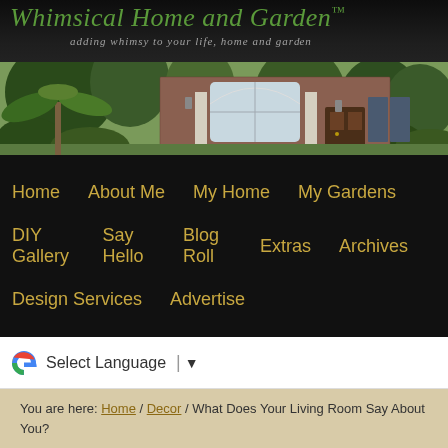Whimsical Home and Garden™ — adding whimsy to your life, home and garden
[Figure (photo): Exterior photo of a brick house with white arched windows, columns, green trees and shrubs, dark wood front door]
Home | About Me | My Home | My Gardens | DIY Gallery | Say Hello | Blog Roll | Extras | Archives | Design Services | Advertise
Select Language ▼
You are here: Home / Decor / What Does Your Living Room Say About You?